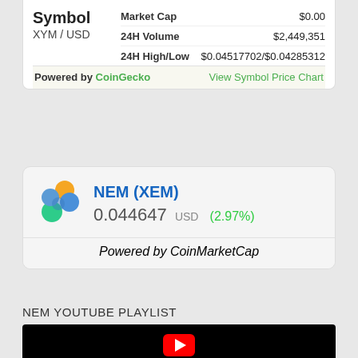|  | Label | Value |
| --- | --- | --- |
| Symbol / XYM/USD | Market Cap | $0.00 |
|  | 24H Volume | $2,449,351 |
|  | 24H High/Low | $0.04517702/$0.04285312 |
Powered by CoinGecko     View Symbol Price Chart
[Figure (logo): NEM (XEM) logo - colorful shield shape with orange, blue, and green segments]
NEM (XEM)
0.044647 USD  (2.97%)
Powered by CoinMarketCap
NEM YOUTUBE PLAYLIST
[Figure (screenshot): YouTube video embed with black background and red YouTube play button]